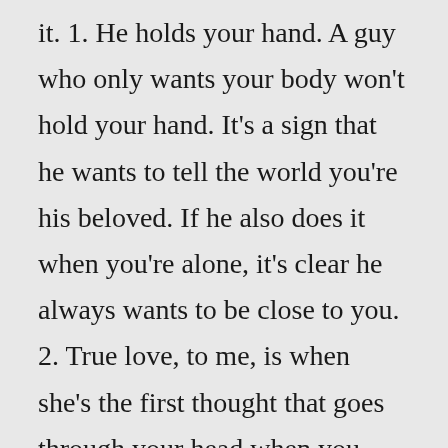it. 1. He holds your hand. A guy who only wants your body won't hold your hand. It's a sign that he wants to tell the world you're his beloved. If he also does it when you're alone, it's clear he always wants to be close to you. 2. True love, to me, is when she's the first thought that goes through your head when you wake up and the last thought that goes through your head before you go to sleep. – Justin Timberlake. If I had a flower